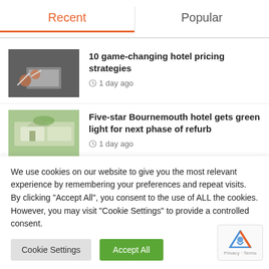Recent
Popular
[Figure (photo): People working at a laptop, hands gesturing, meeting scene]
10 game-changing hotel pricing strategies
1 day ago
[Figure (photo): Aerial architectural model of a hotel resort with green landscaping]
Five-star Bournemouth hotel gets green light for next phase of refurb
1 day ago
We use cookies on our website to give you the most relevant experience by remembering your preferences and repeat visits. By clicking "Accept All", you consent to the use of ALL the cookies. However, you may visit "Cookie Settings" to provide a controlled consent.
Cookie Settings
Accept All